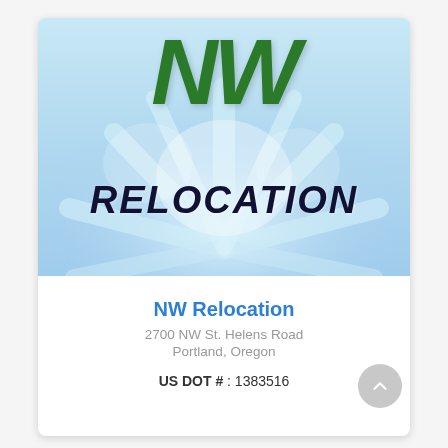[Figure (logo): NW Relocation company logo with large green italic 'NW' text at top and black 'RELOCATION' text below, on a light blue/white background with decorative flower burst graphic]
NW Relocation
2700 NW St. Helens Road
Portland, Oregon
US DOT # : 1383516